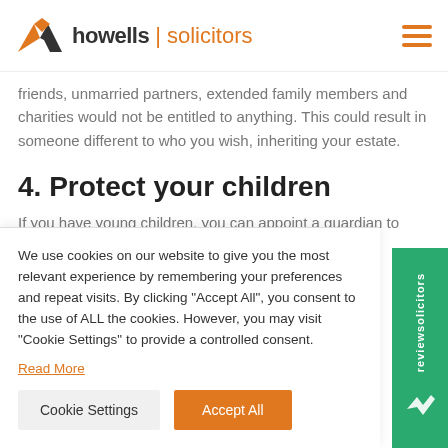howells solicitors
friends, unmarried partners, extended family members and charities would not be entitled to anything. This could result in someone different to who you wish, inheriting your estate.
4. Protect your children
If you have young children, you can appoint a guardian to look after them in the event of both parents dying
We use cookies on our website to give you the most relevant experience by remembering your preferences and repeat visits. By clicking "Accept All", you consent to the use of ALL the cookies. However, you may visit "Cookie Settings" to provide a controlled consent.
Read More
Cookie Settings | Accept All